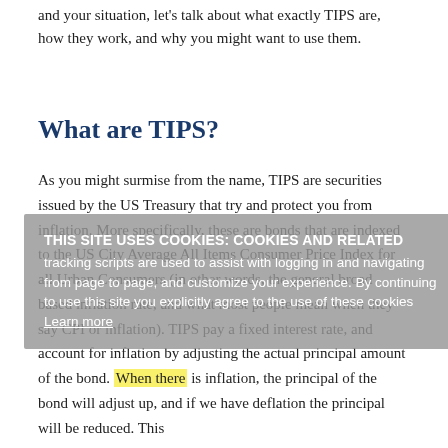and your situation, let’s talk about what exactly TIPS are, how they work, and why you might want to use them.
What are TIPS?
As you might surmise from the name, TIPS are securities issued by the US Treasury that try and protect you from inflation. More specifically, these are bonds that are indexed to the US City Average All Items Consumer Price Index for all Urban Consumers (in other words, the general broad based inflation rate, and what most people mean when they say CPI or inflation). TIPS pay a fixed interest rate, and account for inflation by adjusting the actual principal amount of the bond. When there is inflation, the principal of the bond will adjust up, and if we have deflation the principal will be reduced. This
THIS SITE USES COOKIES: Cookies and related tracking scripts are used to assist with logging in and navigating from page to page, and customize your experience. By continuing to use this site you explicitly agree to the use of these cookies Learn more